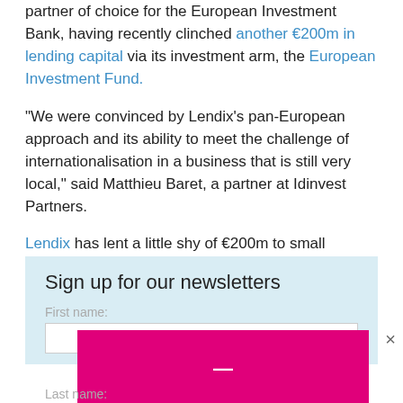partner of choice for the European Investment Bank, having recently clinched another €200m in lending capital via its investment arm, the European Investment Fund.
“We were convinced by Lendix’s pan-European approach and its ability to meet the challenge of internationalisation in a business that is still very local,” said Matthieu Baret, a partner at Idinvest Partners.
Lendix has lent a little shy of €200m to small businesses to date, according to AltFi Data’s market data page.
Sign up for our newsletters